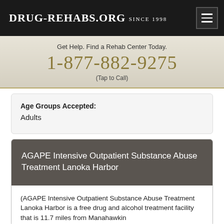Drug-Rehabs.org Since 1998
Get Help. Find a Rehab Center Today.
1-877-882-9275
(Tap to Call)
Age Groups Accepted:
Adults
AGAPE Intensive Outpatient Substance Abuse Treatment Lanoka Harbor
(AGAPE Intensive Outpatient Substance Abuse Treatment Lanoka Harbor is a free drug and alcohol treatment facility that is 11.7 miles from Manahawkin